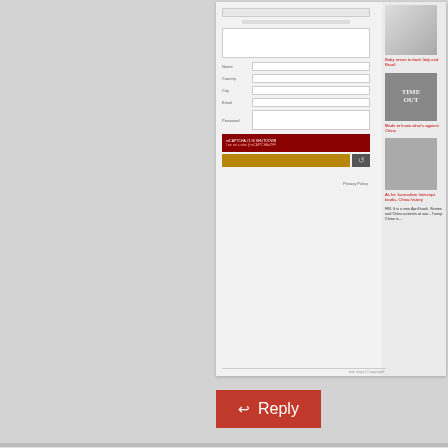[Figure (screenshot): Screenshot of a website comment form with CAPTCHA and sidebar with magazine-style images and red links]
Reply
Sonam Wangdue
December 2, 2018
Dear Lobsang Sangye and Tibetan Govt in exile in I
How come after 60 years you are still not at the G20 cannot get your country back? How come the world shifting towards the East which is China? How come autonomy, or freedom or any leeway with China? H China is a failure and you produced nothing?
You run around begging for FREE MONEY from Eu Taiwan and US for 60 years now but no one in you big or successful? Where did all the money go? In Tibetans from India/Nepal are going back to Tibet